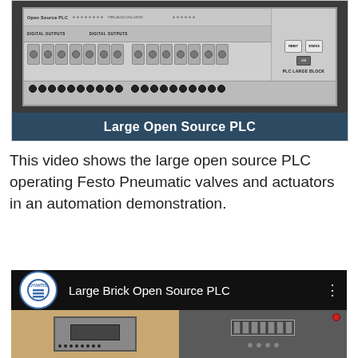[Figure (photo): Photo of a Large Open Source PLC board showing digital outputs, connectors, terminal blocks, USB port, reset and status buttons.]
Large Open Source PLC
This video shows the large open source PLC operating Festo Pneumatic valves and actuators in an automation demonstration.
[Figure (screenshot): YouTube video thumbnail showing 'Large Brick Open Source PLC' with channel logo, video title, and a preview of the PLC and pneumatic equipment.]